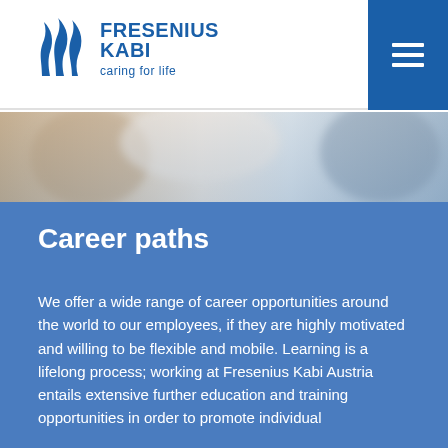[Figure (logo): Fresenius Kabi logo with wave/flame icon mark, brand name FRESENIUS KABI and tagline caring for life in blue]
[Figure (photo): Blurred photo strip showing people in a professional/medical setting, muted warm and cool tones]
Career paths
We offer a wide range of career opportunities around the world to our employees, if they are highly motivated and willing to be flexible and mobile. Learning is a lifelong process; working at Fresenius Kabi Austria entails extensive further education and training opportunities in order to promote individual